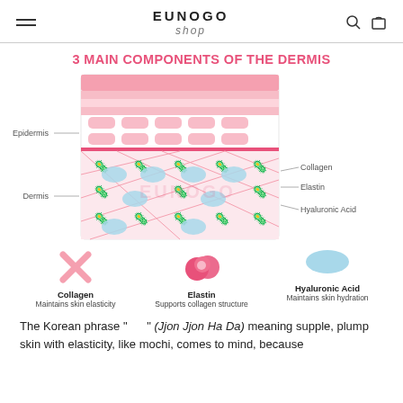EUNOGO shop
3 MAIN COMPONENTS OF THE DERMIS
[Figure (illustration): Cross-section diagram of skin layers showing Epidermis and Dermis. Epidermis layer is shown with pink horizontal bands and cell-like structures. Dermis layer shows collagen fibers (pink curled shapes), elastin (blue oval shapes), and hyaluronic acid arranged in a diamond grid pattern. Labels point to Collagen, Elastin, and Hyaluronic Acid on the right side. Watermark text 'EUNOGO' appears in the center.]
[Figure (infographic): Three icons in a row: 1) Pink X shape labeled 'Collagen - Maintains skin elasticity', 2) Pink double-circle/molecule shape labeled 'Elastin - Supports collagen structure', 3) Light blue oval shape labeled 'Hyaluronic Acid - Maintains skin hydration']
The Korean phrase " " (Jjon Jjon Ha Da) meaning supple, plump skin with elasticity, like mochi, comes to mind, because